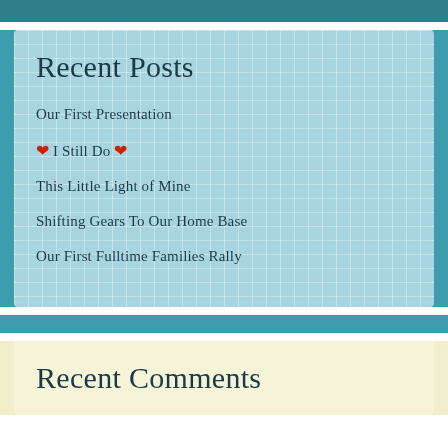Recent Posts
Our First Presentation
❤ I Still Do ❤
This Little Light of Mine
Shifting Gears To Our Home Base
Our First Fulltime Families Rally
Recent Comments